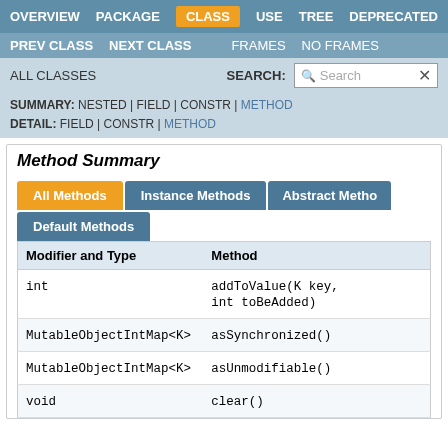OVERVIEW  PACKAGE  CLASS  USE  TREE  DEPRECATED
PREV CLASS  NEXT CLASS  FRAMES  NO FRAMES
ALL CLASSES  SEARCH:
SUMMARY: NESTED | FIELD | CONSTR | METHOD  DETAIL: FIELD | CONSTR | METHOD
Method Summary
All Methods  Instance Methods  Abstract Methods  Default Methods
| Modifier and Type | Method |
| --- | --- |
| int | addToValue(K key, int toBeAdded) |
| MutableObjectIntMap<K> | asSynchronized() |
| MutableObjectIntMap<K> | asUnmodifiable() |
| void | clear() |